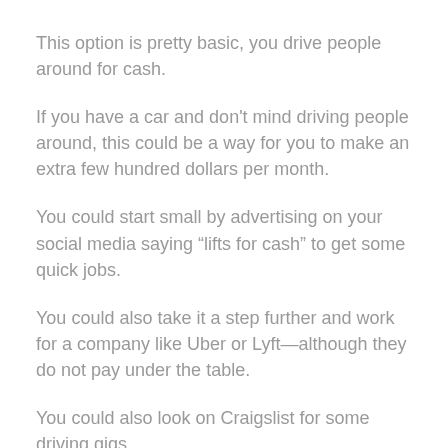This option is pretty basic, you drive people around for cash.
If you have a car and don't mind driving people around, this could be a way for you to make an extra few hundred dollars per month.
You could start small by advertising on your social media saying “lifts for cash” to get some quick jobs.
You could also take it a step further and work for a company like Uber or Lyft—although they do not pay under the table.
You could also look on Craigslist for some driving gigs.